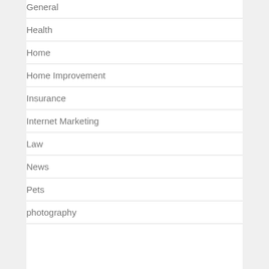General
Health
Home
Home Improvement
Insurance
Internet Marketing
Law
News
Pets
photography